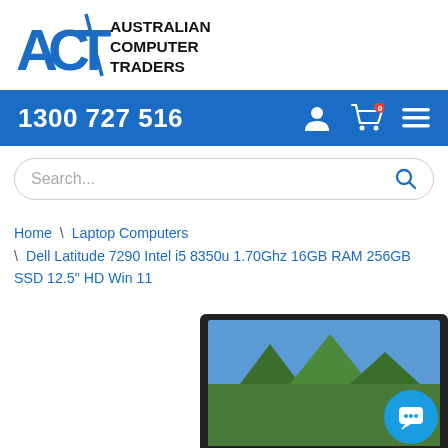[Figure (logo): ACT Australian Computer Traders logo - blue ACT letters with diagonal slash, black bold text 'AUSTRALIAN COMPUTER TRADERS']
1300 727 516
Search...
Home \ Laptop Computers \ Dell Latitude 7290 Intel i5 8350u 1.70Ghz 16GB RAM 256GB SSD 12.5" HD Win 11
[Figure (photo): Partial view of a Dell Latitude laptop showing the screen with a landscape wallpaper, bottom portion of the laptop visible]